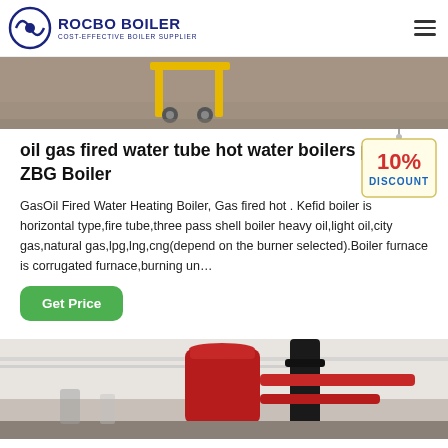ROCBO BOILER - COST-EFFECTIVE BOILER SUPPLIER
[Figure (photo): Top partial image of industrial equipment on a warehouse floor with yellow metal frame]
oil gas fired water tube hot water boilers price - ZBG Boiler
GasOil Fired Water Heating Boiler, Gas fired hot . Kefid boiler is horizontal type,fire tube,three pass shell boiler heavy oil,light oil,city gas,natural gas,lpg,lng,cng(depend on the burner selected).Boiler furnace is corrugated furnace,burning un…
[Figure (illustration): 10% DISCOUNT badge/sticker hanging sign]
Get Price
[Figure (photo): Bottom partial photo of industrial boiler equipment with red cylindrical tank and pipes in a building interior]